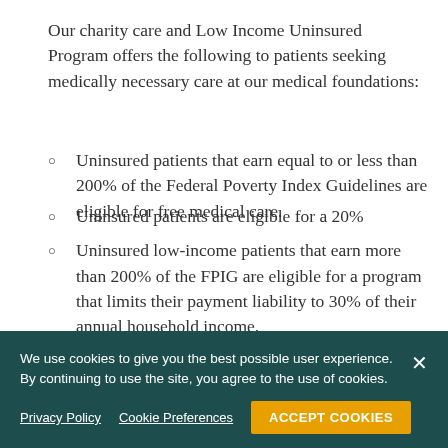Our charity care and Low Income Uninsured Program offers the following to patients seeking medically necessary care at our medical foundations:
Uninsured patients that earn equal to or less than 200% of the Federal Poverty Index Guidelines are eligible for free medical care.
Uninsured low-income patients that earn more than 200% of the FPIG are eligible for a program that limits their payment liability to 30% of their annual household income.
Uninsured patients are eligible for a 20%
Billing and Collection Policy
We use cookies to give you the best possible user experience. By continuing to use the site, you agree to the use of cookies.